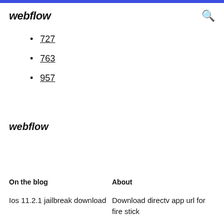webflow
727
763
957
webflow
On the blog
About
Ios 11.2.1 jailbreak download
Download directv app url for fire stick